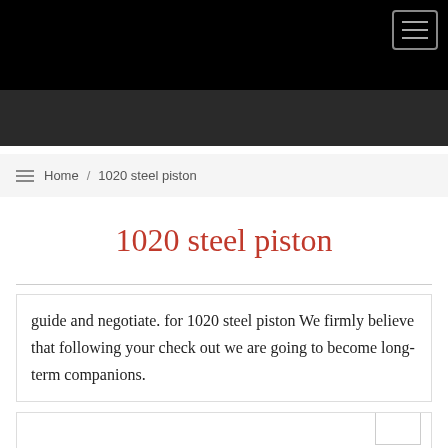Navigation bar with hamburger menu
Home / 1020 steel piston
1020 steel piston
guide and negotiate. for 1020 steel piston We firmly believe that following your check out we are going to become long-term companions.